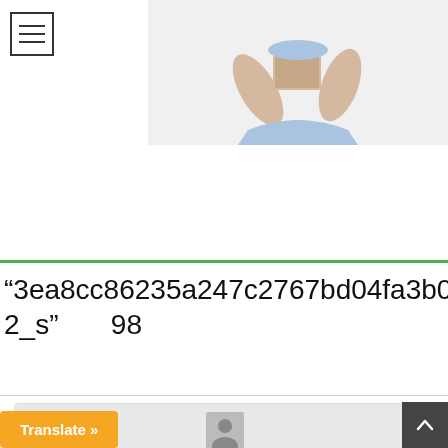Navigation menu icon
[Figure (photo): Partial view of a person in a light blue dress holding a book, cropped at the top]
“3ea8cc86235a247c2767bd04fa3b0782_s”  98
uttelty 説：
2021年5月27日 11:40 AM
...tadalafil